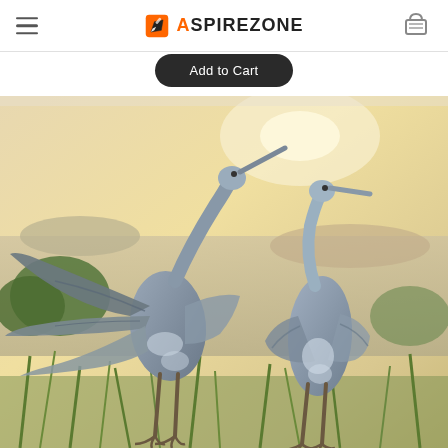ASPIREZONE
Add to Cart
[Figure (photo): Two metal heron/crane garden sculptures standing in grass with a blurred water and landscape background. The left heron has wings spread open, the right heron stands with wings folded. Both are blue-grey metallic in color.]